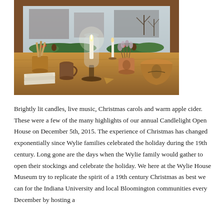[Figure (photo): A cozy holiday scene on a wooden table near a window: a lit candle on a wooden candlestick with a glass hurricane shade, an unlit candle, wooden utensils in a crock, pine greenery, a small pottery vase with dried flowers, a large stoneware bowl, a ceramic mug, and stacked books. Wintry outdoor scene visible through the window.]
Brightly lit candles, live music, Christmas carols and warm apple cider. These were a few of the many highlights of our annual Candlelight Open House on December 5th, 2015. The experience of Christmas has changed exponentially since Wylie families celebrated the holiday during the 19th century. Long gone are the days when the Wylie family would gather to open their stockings and celebrate the holiday. We here at the Wylie House Museum try to replicate the spirit of a 19th century Christmas as best we can for the Indiana University and local Bloomington communities every December by hosting a